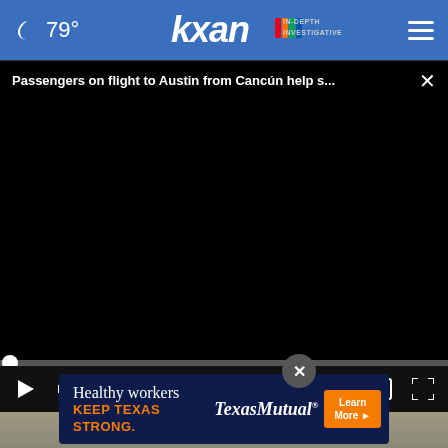79° KXAN IN-DEPTH INVESTIGATIVE
Passengers on flight to Austin from Cancún help s...
[Figure (screenshot): Video player showing a dark/black screen with playback controls: play button, mute button, timestamp 00:00, subtitles button, and fullscreen button. A seek bar with a white dot at the start sits above the controls.]
[Figure (screenshot): Bottom portion shows blurred video thumbnail of a person's face, with a circular close (X) button overlay and a Texas Mutual advertisement banner reading 'Healthy workers KEEP TEXAS STRONG. TexasMutual Learn More ▶']